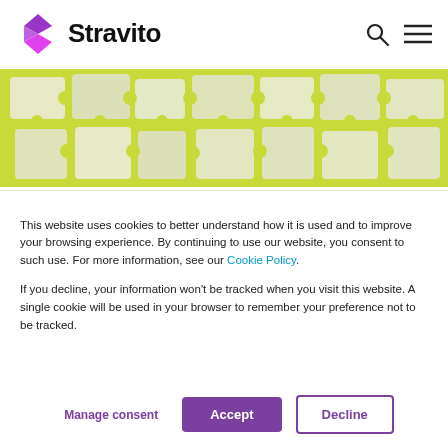Stravito
[Figure (photo): Puzzle pieces scattered on a yellow-green background]
[Figure (infographic): Social media sharing icons: Facebook, LinkedIn, Twitter, Email]
This website uses cookies to better understand how it is used and to improve your browsing experience. By continuing to use our website, you consent to such use. For more information, see our Cookie Policy.
If you decline, your information won't be tracked when you visit this website. A single cookie will be used in your browser to remember your preference not to be tracked.
Manage consent | Accept | Decline